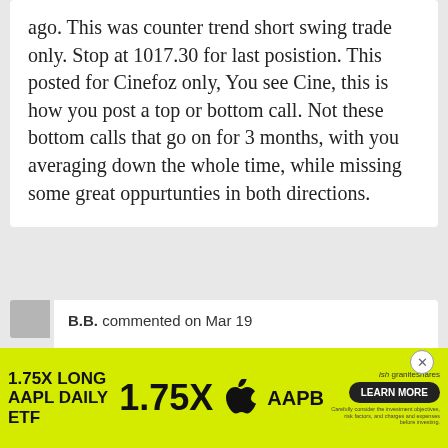ago. This was counter trend short swing trade only. Stop at 1017.30 for last posistion. This posted for Cinefoz only, You see Cine, this is how you post a top or bottom call. Not these bottom calls that go on for 3 months, with you averaging down the whole time, while missing some great oppurtunties in both directions.
B.B. commented on Mar 19
out last 1/2 sold at 955.30 from 1020.00. I a... trade worked but far better than I
[Figure (infographic): Advertisement banner for '1.75X LONG AAPL DAILY ETF' (ticker: AAPB) by Graniteshares. Shows '1.75X' in large text, Apple logo, and a 'LEARN MORE' button on dark background. Yellow/green background.]